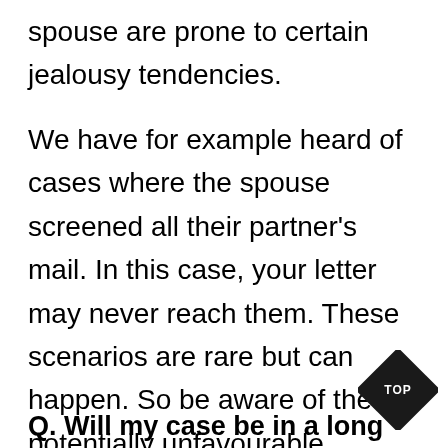spouse are prone to certain jealousy tendencies.
We have for example heard of cases where the spouse screened all their partner's mail. In this case, your letter may never reach them. These scenarios are rare but can happen. So be aware of these potentially unfavourable outcomes. Moreover, if we have found the current address of the person you are seeking, then our job is done, and we expect to be paid regardless of the outcome.
Q. Will my case be in a long line of other